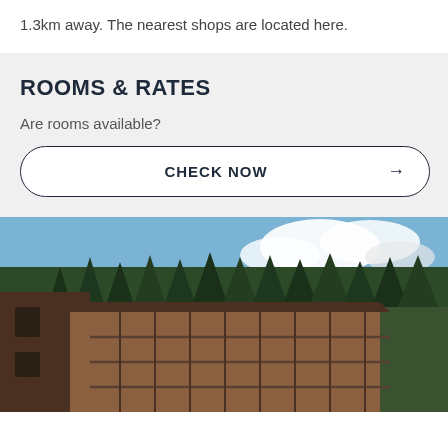1.3km away. The nearest shops are located here.
ROOMS & RATES
Are rooms available?
CHECK NOW →
[Figure (photo): Exterior view of a wooden mountain hotel building with balconies, set against a forested hillside with tall evergreen trees and a partly cloudy sky]